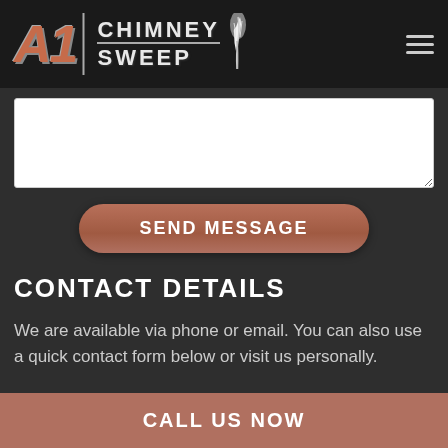[Figure (logo): A1 Chimney Sweep logo with stylized metallic A1 lettering in copper/brick color, CHIMNEY SWEEP text in white uppercase with feather icon on dark background]
[Figure (other): Text input form area - white textarea box for message input with resize handle]
SEND MESSAGE
CONTACT DETAILS
We are available via phone or email. You can also use a quick contact form below or visit us personally.
CALL US NOW